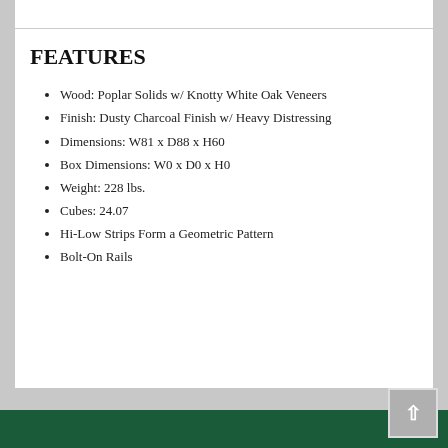FEATURES
Wood: Poplar Solids w/ Knotty White Oak Veneers
Finish: Dusty Charcoal Finish w/ Heavy Distressing
Dimensions: W81 x D88 x H60
Box Dimensions: W0 x D0 x H0
Weight: 228 lbs.
Cubes: 24.07
Hi-Low Strips Form a Geometric Pattern
Bolt-On Rails